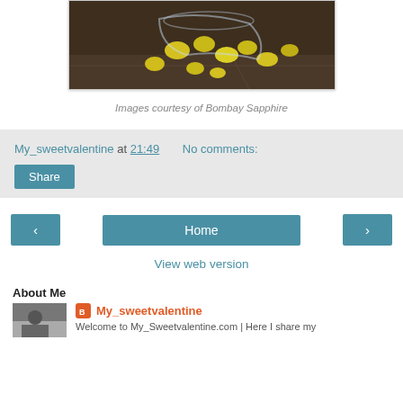[Figure (photo): Photo of lemons spilling from a glass bowl on a dark wooden surface]
Images courtesy of Bombay Sapphire
My_sweetvalentine at 21:49   No comments:
Share
‹
Home
›
View web version
About Me
[Figure (photo): Small profile photo of a person on a street]
My_sweetvalentine
Welcome to My_Sweetvalentine.com | Here I share my